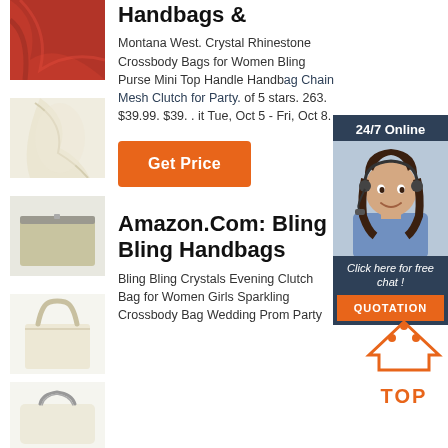[Figure (photo): Red/crimson fabric thumbnail]
[Figure (photo): Cream/beige draped fabric thumbnail]
[Figure (photo): Khaki/tan small pouch thumbnail]
[Figure (photo): Beige canvas tote bag thumbnail]
[Figure (photo): Cream clutch bag thumbnail]
Purses And Handbags Handbags &
Montana West. Crystal Rhinestone Crossbody Bags for Women Bling Purse Mini Top Handle Handbag Chain Mesh Clutch for Party. of 5 stars. 263. $39.99. $39. . it Tue, Oct 5 - Fri, Oct 8.
[Figure (photo): 24/7 Online chat banner with woman wearing headset]
Get Price
Amazon.Com: Bling Bling Handbags
[Figure (illustration): TOP badge icon with orange/red color]
Bling Bling Crystals Evening Clutch Bag for Women Girls Sparkling Crossbody Bag Wedding Prom Party